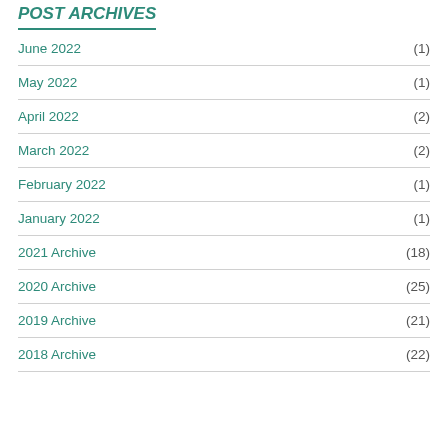POST ARCHIVES
June 2022 (1)
May 2022 (1)
April 2022 (2)
March 2022 (2)
February 2022 (1)
January 2022 (1)
2021 Archive (18)
2020 Archive (25)
2019 Archive (21)
2018 Archive (22)